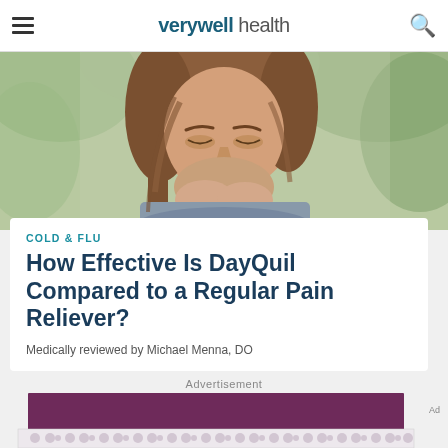verywell health
[Figure (photo): Woman coughing into her hand, outdoors with blurred green background]
COLD & FLU
How Effective Is DayQuil Compared to a Regular Pain Reliever?
Medically reviewed by Michael Menna, DO
Advertisement
[Figure (other): Advertisement block with dark purple background and decorative dot pattern]